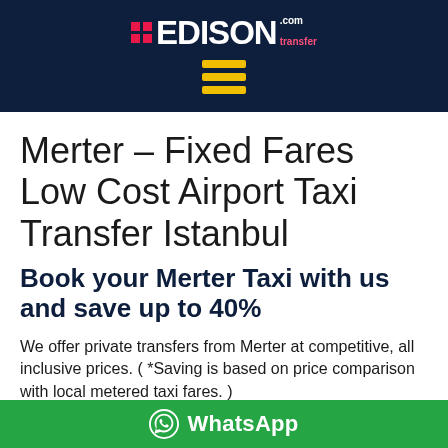EDISON .com transfer
Merter - Fixed Fares Low Cost Airport Taxi Transfer Istanbul
Book your Merter Taxi with us and save up to 40%
We offer private transfers from Merter at competitive, all inclusive prices. ( *Saving is based on price comparison with local metered taxi fares. )
WhatsApp